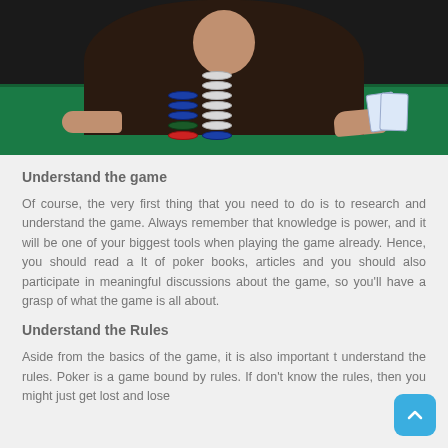[Figure (photo): Person wearing a dark hoodie seated at a green felt poker table, looking at the camera with poker chips stacked in the center and playing cards held in hand, against a dark background.]
Understand the game
Of course, the very first thing that you need to do is to research and understand the game. Always remember that knowledge is power, and it will be one of your biggest tools when playing the game already. Hence, you should read a lt of poker books, articles and you should also participate in meaningful discussions about the game, so you'll have a grasp of what the game is all about.
Understand the Rules
Aside from the basics of the game, it is also important t understand the rules. Poker is a game bound by rules. If don't know the rules, then you might just get lost and lose